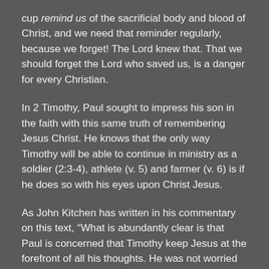cup remind us of the sacrificial body and blood of Christ, and we need that reminder regularly, because we forget! The Lord knew that. That we should forget the Lord who saved us, is a danger for every Christian.
In 2 Timothy, Paul sought to impress his son in the faith with this same truth of remembering Jesus Christ. He knows that the only way Timothy will be able to continue in ministry as a soldier (2:3-4), athlete (v. 5) and farmer (v. 6) is if he does so with his eyes upon Christ Jesus.
As John Kitchen has written in his commentary on this text, “What is abundantly clear is that Paul is concerned that Timothy keep Jesus at the forefront of all his thoughts. He was not worried that Timothy would